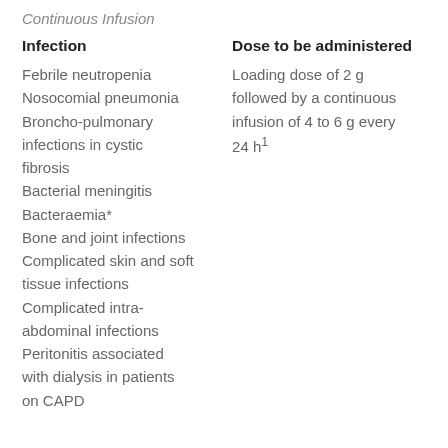Continuous Infusion
| Infection | Dose to be administered |
| --- | --- |
| Febrile neutropenia
Nosocomial pneumonia
Broncho-pulmonary infections in cystic fibrosis
Bacterial meningitis
Bacteraemia*
Bone and joint infections
Complicated skin and soft tissue infections
Complicated intra-abdominal infections
Peritonitis associated with dialysis in patients on CAPD | Loading dose of 2 g followed by a continuous infusion of 4 to 6 g every 24 h¹ |